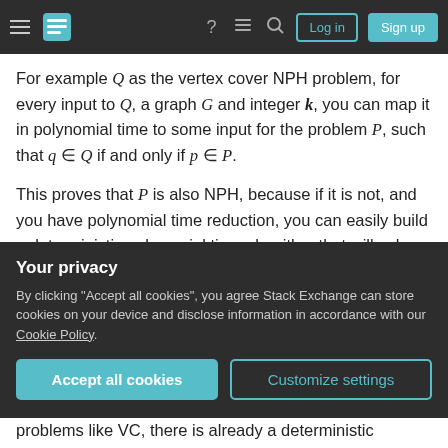Stack Exchange navigation bar with hamburger menu, logo, icons, Log in and Sign up buttons
For example Q as the vertex cover NPH problem, for every input to Q, a graph G and integer k, you can map it in polynomial time to some input for the problem P, such that q ∈ Q if and only if p ∈ P.
This proves that P is also NPH, because if it is not, and you have polynomial time reduction, you can easily build a deterministic polynomial time algorithm that will solve the original NPH problem.
If you reduction is only from some subset of the inputs for the NPH problem, it won't work - because
Your privacy
By clicking "Accept all cookies", you agree Stack Exchange can store cookies on your device and disclose information in accordance with our Cookie Policy.
Accept all cookies
Customize settings
problems like VC, there is already a deterministic